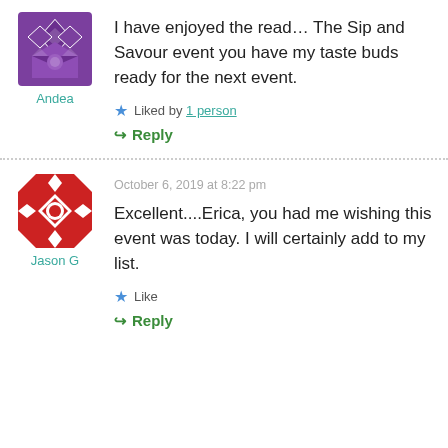[Figure (illustration): Purple decorative avatar icon for user Andea]
Andea
I have enjoyed the read… The Sip and Savour event you have my taste buds ready for the next event.
★ Liked by 1 person
↪ Reply
[Figure (illustration): Red and white geometric quilt-pattern avatar icon for user Jason G]
Jason G
October 6, 2019 at 8:22 pm
Excellent....Erica, you had me wishing this event was today. I will certainly add to my list.
★ Like
↪ Reply